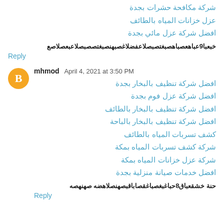شركة مكافحة حشرات بجدة
عزل خزانات المياه بالطائف
افضل شركة عزل مائي بجدة
خبعبا9عباهعصباهصبغتصبصلاعفضلاغصبهنصبغتصصبصلاعبعصلاصع
Reply
mhmod  April 4, 2021 at 3:50 PM
افضل شركة تنظيف بالبخار بجدة
افضل شركة عزل فوم بجدة
افضل شركة تنظيف بالبخار بالطائف
افضل شركة تنظيف بالبخار بالباحة
كشف تسربات المياه بالطائف
شركة كشف تسربات المياه بمكة
شركة عزل خزانات المياه بمكة
افضل خدمات صيانة منزلية بجدة
حنة خشقعباق8حباغبغصباغقصاباقبصهنصلاهضه صهنهصه
Reply